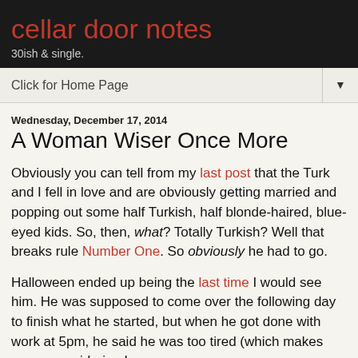cellar door notes
30ish & single.
Click for Home Page
Wednesday, December 17, 2014
A Woman Wiser Once More
Obviously you can tell from my last post that the Turk and I fell in love and are obviously getting married and popping out some half Turkish, half blonde-haired, blue-eyed kids. So, then, what? Totally Turkish? Well that breaks rule Number One. So obviously he had to go.
Halloween ended up being the last time I would see him. He was supposed to come over the following day to finish what he started, but when he got done with work at 5pm, he said he was too tired (which makes sense considering he was